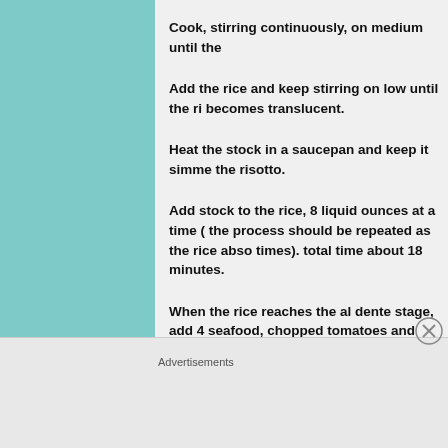Cook, stirring continuously, on medium until the
Add the rice and keep stirring on low until the ri becomes translucent.
Heat the stock in a saucepan and keep it simme the risotto.
Add stock to the rice, 8 liquid ounces at a time ( the process should be repeated as the rice abso times). total time about 18 minutes.
When the rice reaches the al dente stage, add 4 seafood, chopped tomatoes and season with sa 4 minutes  more or until seafood is cooked.
Advertisements